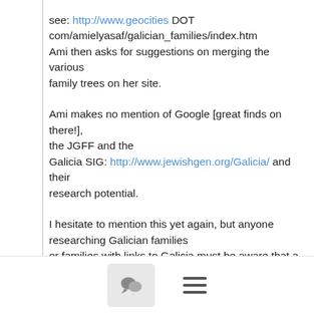see: http://www.geocities DOT com/amielyasaf/galician_families/index.htm Ami then asks for suggestions on merging the various family trees on her site.
Ami makes no mention of Google [great finds on there!], the JGFF and the Galicia SIG: http://www.jewishgen.org/Galicia/ and their research potential.
I hesitate to mention this yet again, but anyone researching Galician families or families with links to Galicia must be aware that a large number of Galicians settled and/or married and had children in Vienna. By omitting Vienna
from *any* research [I cannot see it mentioned above], Ami may have missed